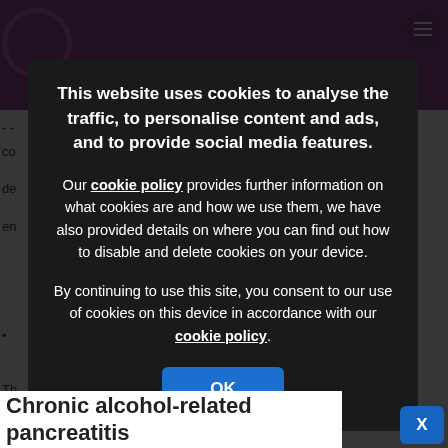[Figure (screenshot): Cookie consent modal overlay on a medical website about chronic alcohol-related pancreatitis. Dark semi-transparent overlay covers the background page. Modal contains cookie policy information and an OK button.]
This website uses cookies to analyse the traffic, to personalise content and ads, and to provide social media features.
Our cookie policy provides further information on what cookies are and how we use them, we have also provided details on where you can find out how to disable and delete cookies on your device.
By continuing to use this site, you consent to our use of cookies on this device in accordance with our cookie policy.
Chronic alcohol-related pancreatitis